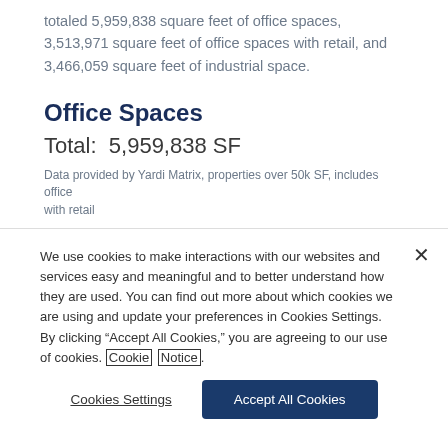totaled 5,959,838 square feet of office spaces, 3,513,971 square feet of office spaces with retail, and 3,466,059 square feet of industrial space.
Office Spaces
Total: 5,959,838 SF
Data provided by Yardi Matrix, properties over 50k SF, includes office with retail
We use cookies to make interactions with our websites and services easy and meaningful and to better understand how they are used. You can find out more about which cookies we are using and update your preferences in Cookies Settings. By clicking “Accept All Cookies,” you are agreeing to our use of cookies. Cookie Notice.
Cookies Settings
Accept All Cookies